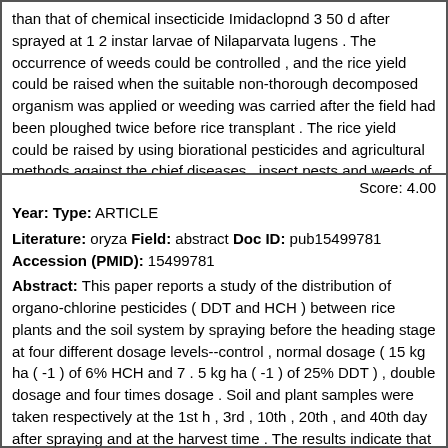than that of chemical insecticide Imidaclopnd 3 50 d after sprayed at 1 2 instar larvae of Nilaparvata lugens . The occurrence of weeds could be controlled , and the rice yield could be raised when the suitable non-thorough decomposed organism was applied or weeding was carried after the field had been ploughed twice before rice transplant . The rice yield could be raised by using biorational pesticides and agricultural methods against the chief diseases , insect pests and weeds of rice . The residue of pesticides in rice was lower in the bio-control area than in the chemical control area , according with the demands of health target of green food .
Score: 4.00
Year: Type: ARTICLE
Literature: oryza Field: abstract Doc ID: pub15499781 Accession (PMID): 15499781
Abstract: This paper reports a study of the distribution of organo-chlorine pesticides ( DDT and HCH ) between rice plants and the soil system by spraying before the heading stage at four different dosage levels--control , normal dosage ( 15 kg ha ( -1 ) of 6% HCH and 7 . 5 kg ha ( -1 ) of 25% DDT ) , double dosage and four times dosage . Soil and plant samples were taken respectively at the 1st h , 3rd , 10th , 20th , and 40th day after spraying and at the harvest time . The results indicate that less than 5% of HCH and 15% of DDT were absorbed by the surface of rice leaves for normal dosage . Most of both pesticides moved into the soil in solution after spraying . Compared with DDT , HCH was degraded and run off more easily . HCH residues in the surface soil layer ( 1-3 cm ) were already below 6 . 4 microg kg ( -1 ) at the mature stage , lower than Chinese Environmental Quality Standard for Agricultural Soils : HCH < 0 . 05 mg kg ( -1 ) . However DDT residues in the surface soil layer remained 172 microg kg ( -1 ) , higher than the national standard :